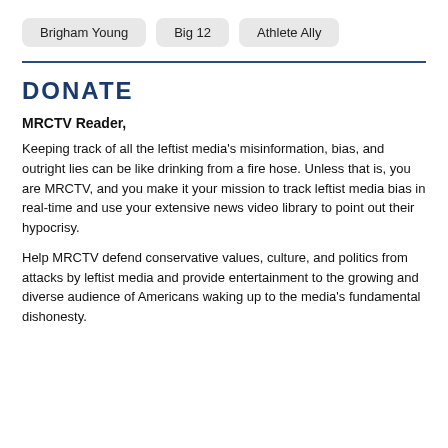Brigham Young
Big 12
Athlete Ally
DONATE
MRCTV Reader,
Keeping track of all the leftist media's misinformation, bias, and outright lies can be like drinking from a fire hose. Unless that is, you are MRCTV, and you make it your mission to track leftist media bias in real-time and use your extensive news video library to point out their hypocrisy.
Help MRCTV defend conservative values, culture, and politics from attacks by leftist media and provide entertainment to the growing and diverse audience of Americans waking up to the media's fundamental dishonesty.